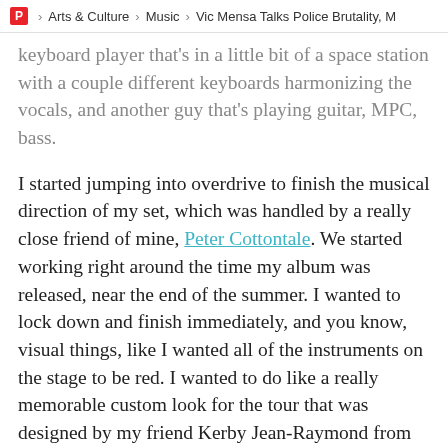P > Arts & Culture > Music > Vic Mensa Talks Police Brutality, M
keyboard player that's in a little bit of a space station with a couple different keyboards harmonizing the vocals, and another guy that's playing guitar, MPC, bass.
I started jumping into overdrive to finish the musical direction of my set, which was handled by a really close friend of mine, Peter Cottontale. We started working right around the time my album was released, near the end of the summer. I wanted to lock down and finish immediately, and you know, visual things, like I wanted all of the instruments on the stage to be red. I wanted to do like a really memorable custom look for the tour that was designed by my friend Kerby Jean-Raymond from New York fashion label Pyer Moss. I wanted to do everything in my power to make this a really special experience.